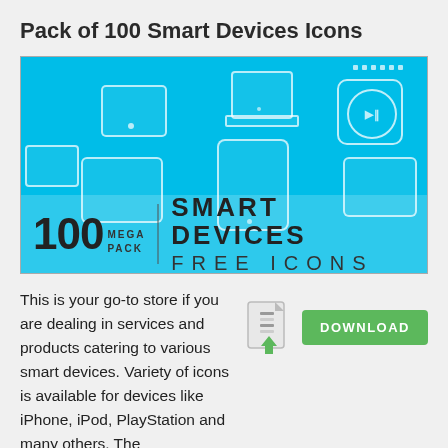Pack of 100 Smart Devices Icons
[Figure (illustration): Blue background promotional image showing outline icons of smart devices (tablets, phones, media players). Large text reads '100 MEGA PACK | SMART DEVICES FREE ICONS']
This is your go-to store if you are dealing in services and products catering to various smart devices. Variety of icons is available for devices like iPhone, iPod, PlayStation and many others. The
[Figure (other): ZIP file icon with green download arrow, next to a green DOWNLOAD button]